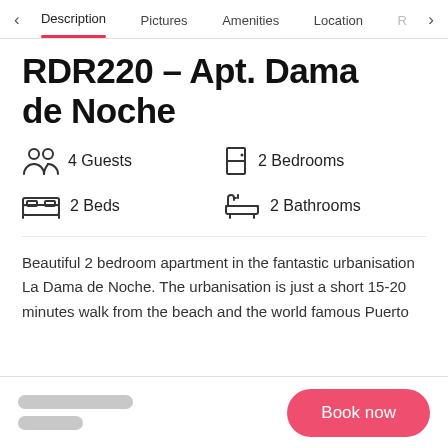Description | Pictures | Amenities | Location | R
RDR220 - Apt. Dama de Noche
4 Guests   2 Bedrooms   2 Beds   2 Bathrooms
Beautiful 2 bedroom apartment in the fantastic urbanisation La Dama de Noche. The urbanisation is just a short 15-20 minutes walk from the beach and the world famous Puerto